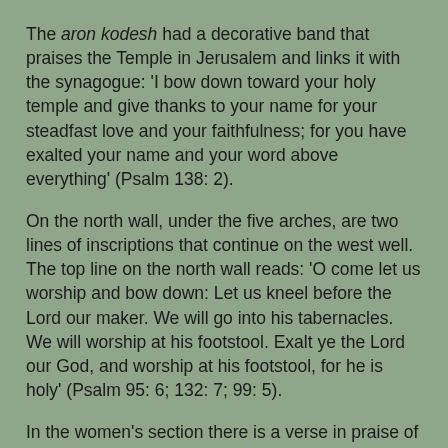The aron kodesh had a decorative band that praises the Temple in Jerusalem and links it with the synagogue: 'I bow down toward your holy temple and give thanks to your name for your steadfast love and your faithfulness; for you have exalted your name and your word above everything' (Psalm 138: 2).
On the north wall, under the five arches, are two lines of inscriptions that continue on the west well. The top line on the north wall reads: 'O come let us worship and bow down: Let us kneel before the Lord our maker. We will go into his tabernacles. We will worship at his footstool. Exalt ye the Lord our God, and worship at his footstool, for he is holy' (Psalm 95: 6; 132: 7; 99: 5).
In the women's section there is a verse in praise of women: 'Your neck is like the tower of David, built in courses' (Song of Songs 4: 4).
There were several verses of longing for Jerusalem: 'Pray for the peace of Jerusalem: May they prosper who love you. Peace be within your walls, and security within your towers'